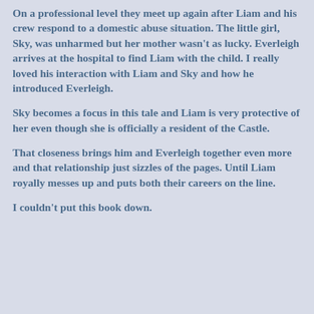On a professional level they meet up again after Liam and his crew respond to a domestic abuse situation. The little girl, Sky, was unharmed but her mother wasn't as lucky. Everleigh arrives at the hospital to find Liam with the child. I really loved his interaction with Liam and Sky and how he introduced Everleigh.
Sky becomes a focus in this tale and Liam is very protective of her even though she is officially a resident of the Castle.
That closeness brings him and Everleigh together even more and that relationship just sizzles of the pages. Until Liam royally messes up and puts both their careers on the line.
I couldn't put this book down.